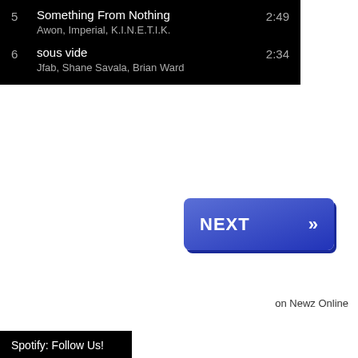5   Something From Nothing   2:49
Awon, Imperial, K.I.N.E.T.I.K.
6   sous vide   2:34
Jfab, Shane Savala, Brian Ward
[Figure (other): Blue NEXT button with double chevron arrows pointing right]
on Newz Online
Spotify: Follow Us!